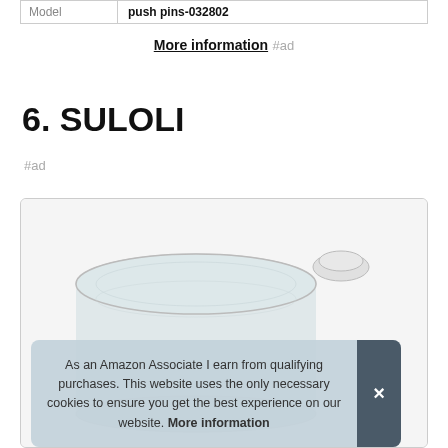| Model | push pins-032802 |
| --- | --- |
| Model | push pins-032802 |
More information #ad
6. SULOLI
#ad
[Figure (photo): Product photo of a glass jar with white lid — SULOLI item]
As an Amazon Associate I earn from qualifying purchases. This website uses the only necessary cookies to ensure you get the best experience on our website. More information